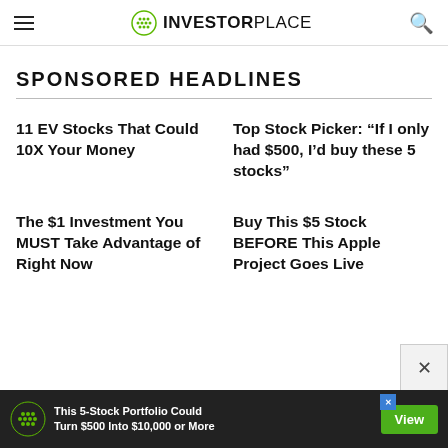INVESTORPLACE
SPONSORED HEADLINES
11 EV Stocks That Could 10X Your Money
Top Stock Picker: “If I only had $500, I’d buy these 5 stocks”
The $1 Investment You MUST Take Advantage of Right Now
Buy This $5 Stock BEFORE This Apple Project Goes Live
This 5-Stock Portfolio Could Turn $500 Into $10,000 or More